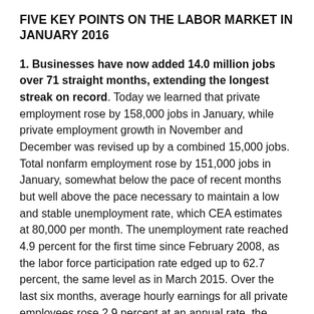FIVE KEY POINTS ON THE LABOR MARKET IN JANUARY 2016
1. Businesses have now added 14.0 million jobs over 71 straight months, extending the longest streak on record. Today we learned that private employment rose by 158,000 jobs in January, while private employment growth in November and December was revised up by a combined 15,000 jobs. Total nonfarm employment rose by 151,000 jobs in January, somewhat below the pace of recent months but well above the pace necessary to maintain a low and stable unemployment rate, which CEA estimates at 80,000 per month. The unemployment rate reached 4.9 percent for the first time since February 2008, as the labor force participation rate edged up to 62.7 percent, the same level as in March 2015. Over the last six months, average hourly earnings for all private employees rose 2.9 percent at an annual rate, the